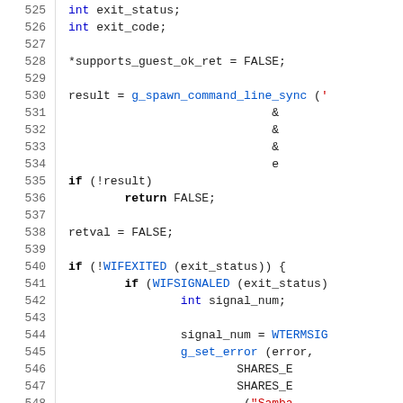[Figure (screenshot): Source code listing in C showing lines 525-554. Code includes variable declarations (exit_status, exit_code), assignment of *supports_guest_ok_ret = FALSE, call to g_spawn_command_line_sync, conditional checks with if/return/else, and calls to g_set_error with SHARES_E constants and _('Samba...') strings.]